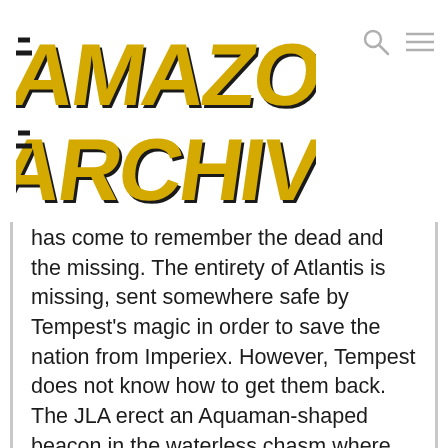Amazon Archives
has come to remember the dead and the missing. The entirety of Atlantis is missing, sent somewhere safe by Tempest's magic in order to save the nation from Imperiex. However, Tempest does not know how to get them back. The JLA erect an Aquaman-shaped beacon in the waterless chasm where Atlantis once stood and the Titans comfort Tempest over the disappearance of his father figure as he begins to